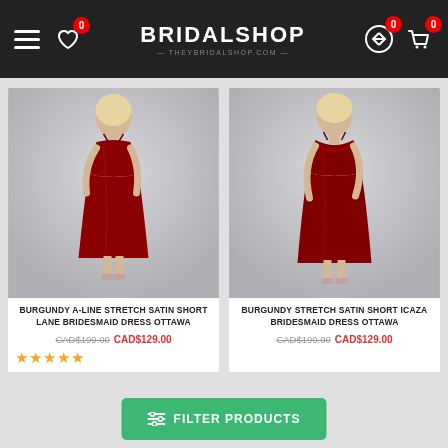BRIDALSHOP
[Figure (photo): Burgundy A-line stretch satin short lane bridesmaid dress on a female model, dark red color, spaghetti straps, midi length]
BURGUNDY A-LINE STRETCH SATIN SHORT LANE BRIDESMAID DRESS OTTAWA
CAD$199.00 CAD$129.00
[Figure (photo): Burgundy stretch satin short Icaza bridesmaid dress on a female model, dark red color, spaghetti straps, cowl neck, midi length]
BURGUNDY STRETCH SATIN SHORT ICAZA BRIDESMAID DRESS OTTAWA
CAD$199.00 CAD$129.00
FILTER PRODUCTS